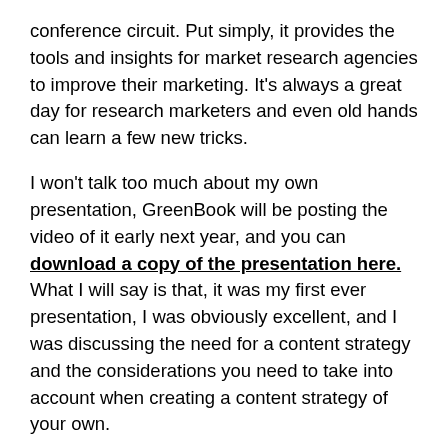conference circuit. Put simply, it provides the tools and insights for market research agencies to improve their marketing. It's always a great day for research marketers and even old hands can learn a few new tricks.
I won't talk too much about my own presentation, GreenBook will be posting the video of it early next year, and you can download a copy of the presentation here. What I will say is that, it was my first ever presentation, I was obviously excellent, and I was discussing the need for a content strategy and the considerations you need to take into account when creating a content strategy of your own.